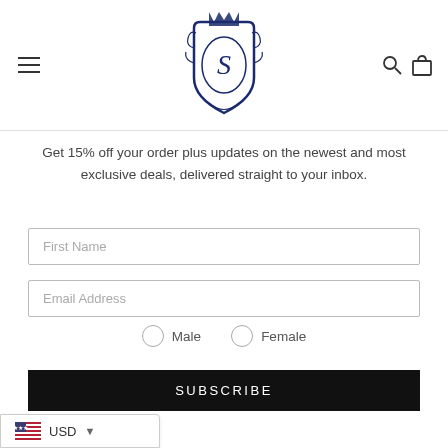[Figure (logo): Navy blue heraldic crest logo with letter S in center and crown on top]
Get 15% off your order plus updates on the newest and most exclusive deals, delivered straight to your inbox.
First Name
Email Address
Male
Female
SUBSCRIBE
USD